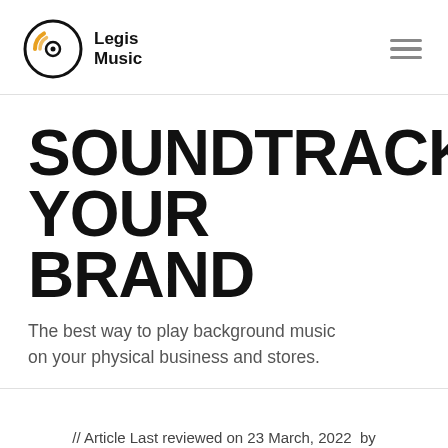Legis Music
SOUNDTRACK YOUR BRAND
The best way to play background music on your physical business and stores.
// Article Last reviewed on 23 March, 2022  by author Pablo Oléndriz